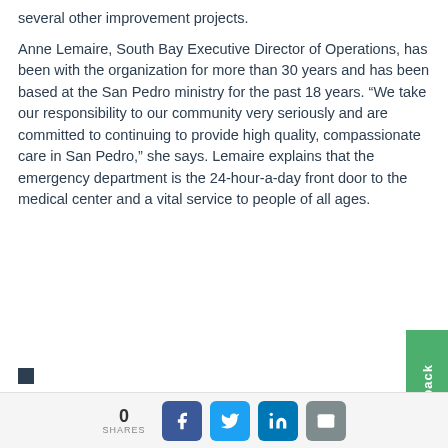several other improvement projects.
Anne Lemaire, South Bay Executive Director of Operations, has been with the organization for more than 30 years and has been based at the San Pedro ministry for the past 18 years. “We take our responsibility to our community very seriously and are committed to continuing to provide high quality, compassionate care in San Pedro,” she says. Lemaire explains that the emergency department is the 24-hour-a-day front door to the medical center and a vital service to people of all ages.
0 SHARES | Facebook | Twitter | LinkedIn | Email